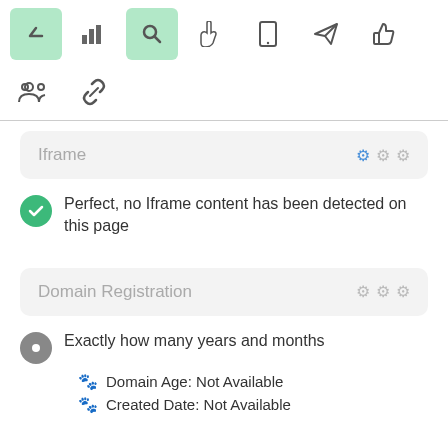[Figure (screenshot): Toolbar row 1 with navigation icons: up arrow (active/green), bar chart, search (active/green), hand pointer, mobile phone, paper plane, thumbs up]
[Figure (screenshot): Toolbar row 2 with icons: group/people, chain/link]
Iframe
Perfect, no Iframe content has been detected on this page
Domain Registration
Exactly how many years and months
Domain Age: Not Available
Created Date: Not Available